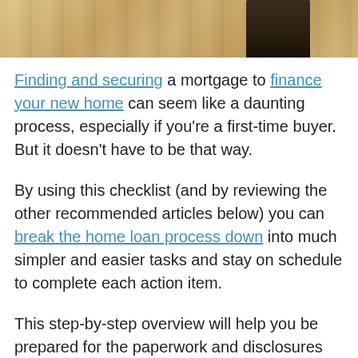[Figure (photo): Partial view of a home-related photograph showing coins/gold objects on a wooden surface with a dark object (graduation cap or similar) visible at the top right.]
Finding and securing a mortgage to finance your new home can seem like a daunting process, especially if you're a first-time buyer. But it doesn't have to be that way.
By using this checklist (and by reviewing the other recommended articles below) you can break the home loan process down into much simpler and easier tasks and stay on schedule to complete each action item.
This step-by-step overview will help you be prepared for the paperwork and disclosures involved. You'll know what to expect regarding loan fees and settlement charges and be better equipped to find the lowest cost home loan.